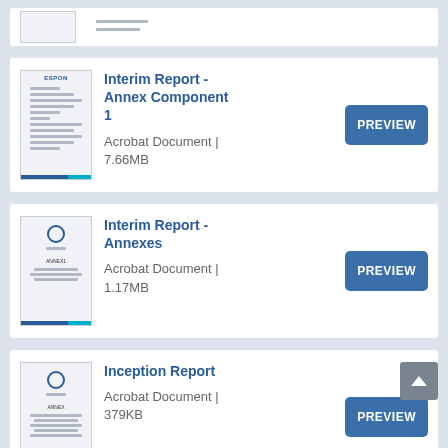[Figure (screenshot): Partial document thumbnail at top of page]
Interim Report - Annex Component 1
Acrobat Document | 7.66MB
[Figure (screenshot): Document thumbnail for Interim Report - Annexes]
Interim Report - Annexes
Acrobat Document | 1.17MB
[Figure (screenshot): Document thumbnail for Inception Report]
Inception Report
Acrobat Document | 379KB
[Figure (screenshot): Partial document thumbnail at bottom of page]